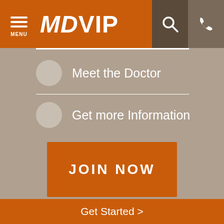MDVIP — Menu, Search, Phone
Meet the Doctor
Get more Information
JOIN NOW
*MDVIP respects your privacy and will only use your personal information as stated in our Privacy Policy and Terms of Use. By providing your number, you are giving your express written consent to receive telemarketing calls or text messages using an automatic phone dialing system
Get Started >